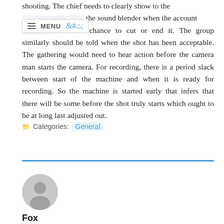shooting. The chief needs to clearly show to the [menu overlay] the sound blender when the account [obscured] and a chance to cut or end it. The group similarly should be told when the shot has been acceptable. The gathering would need to hear action before the camera man starts the camera. For recording, there is a period slack between start of the machine and when it is ready for recording. So the machine is started early that infers that there will be some before the shot truly starts which ought to be at long last adjusted out.
Categories: General
[Figure (other): Blue horizontal divider line]
[Figure (other): Circular gray avatar/profile image placeholder]
Fox